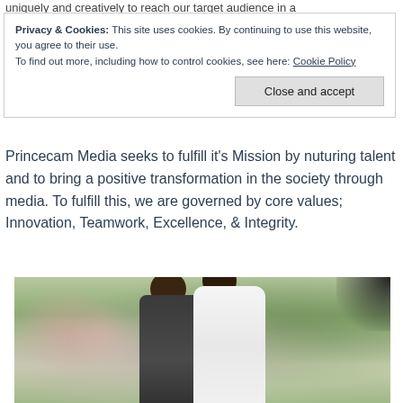uniquely and creatively to reach our target audience in a
Privacy & Cookies: This site uses cookies. By continuing to use this website, you agree to their use. To find out more, including how to control cookies, see here: Cookie Policy
Close and accept
Princecam Media seeks to fulfill it’s Mission by nuturing talent and to bring a positive transformation in the society through media. To fulfill this, we are governed by core values; Innovation, Teamwork, Excellence, & Integrity.
[Figure (photo): A couple posing outdoors, woman appears pregnant, wearing white top, man in dark shirt, green bokeh background with pink floral blur]